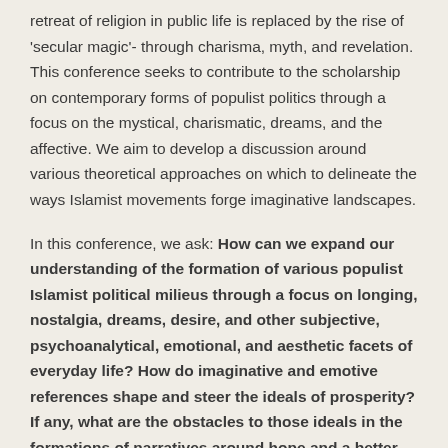retreat of religion in public life is replaced by the rise of 'secular magic'- through charisma, myth, and revelation. This conference seeks to contribute to the scholarship on contemporary forms of populist politics through a focus on the mystical, charismatic, dreams, and the affective. We aim to develop a discussion around various theoretical approaches on which to delineate the ways Islamist movements forge imaginative landscapes.
In this conference, we ask: How can we expand our understanding of the formation of various populist Islamist political milieus through a focus on longing, nostalgia, dreams, desire, and other subjective, psychoanalytical, emotional, and aesthetic facets of everyday life? How do imaginative and emotive references shape and steer the ideals of prosperity? If any, what are the obstacles to those ideals in the formations of narratives around hope and a better future?
The conference brings together a wide array of scholars